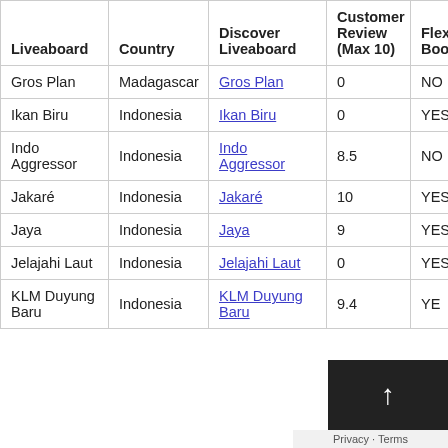| Liveaboard | Country | Discover Liveaboard | Customer Review (Max 10) | Flexible Booking | SD Lu Ra % |
| --- | --- | --- | --- | --- | --- |
| Gros Plan | Madagascar | Gros Plan | 0 | NO | 54 |
| Ikan Biru | Indonesia | Ikan Biru | 0 | YES | 52 |
| Indo Aggressor | Indonesia | Indo Aggressor | 8.5 | NO | 67 |
| Jakaré | Indonesia | Jakaré | 10 | YES | 81 |
| Jaya | Indonesia | Jaya | 9 | YES | 58 |
| Jelajahi Laut | Indonesia | Jelajahi Laut | 0 | YES | 85 |
| KLM Duyung Baru | Indonesia | KLM Duyung Baru | 9.4 | YES |  |